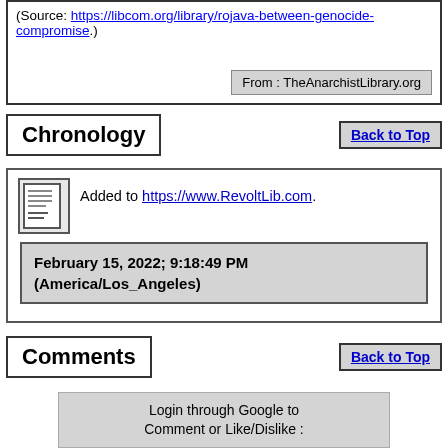(Source: https://libcom.org/library/rojava-between-genocide-compromise.)
From : TheAnarchistLibrary.org
Chronology
Back to Top
Added to https://www.RevoltLib.com.
February 15, 2022; 9:18:49 PM (America/Los_Angeles)
Comments
Back to Top
Login through Google to Comment or Like/Dislike :